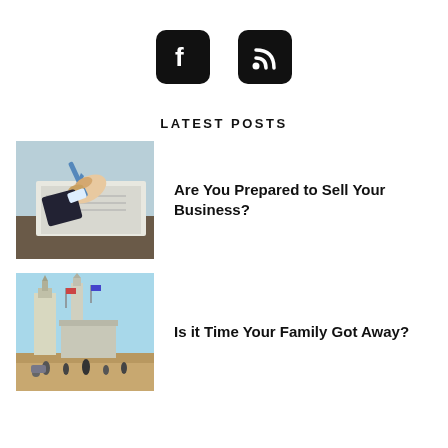[Figure (logo): Facebook icon (rounded square, white F on black) and RSS feed icon (rounded square, white signal waves on black)]
LATEST POSTS
[Figure (photo): Business person's hands holding a pen and writing in a document/book, close-up shot]
Are You Prepared to Sell Your Business?
[Figure (photo): Outdoor scene with tall tower structures, flags, and people walking near what appears to be a theme park or fairground entrance]
Is it Time Your Family Got Away?